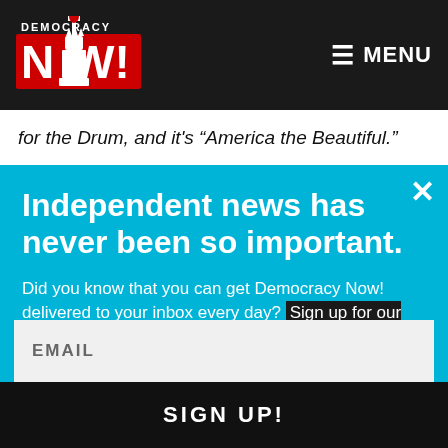Democracy Now! — MENU
for the Drum, and it's "America the Beautiful."
Independent news has never been so important.
Did you know that you can get Democracy Now! delivered to your inbox every day? Sign up for our Daily News Digest today! Don't worry, we'll never share or sell your information.
EMAIL
SIGN UP!